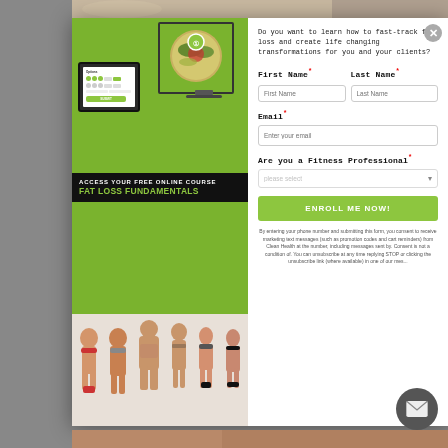[Figure (screenshot): Modal popup for Fat Loss Fundamentals free online course. Left side shows a promotional image with monitor and tablet displaying a course interface, plus before/after body transformation photos. Right side has a signup form.]
Do you want to learn how to fast-track fat loss and create life changing transformations for you and your clients?
First Name*
Last Name*
Email*
Are you a Fitness Professional*
ENROLL ME NOW!
By entering your phone number and submitting this form, you consent to receive marketing text messages (such as promotion codes and cart reminders) from Clean Health at the number, including messages sent by. Consent is not a condition of. You can unsubscribe at any time by replying STOP or clicking the unsubscribe link (where available) in one of our messages.
ACCESS YOUR FREE ONLINE COURSE FAT LOSS FUNDAMENTALS